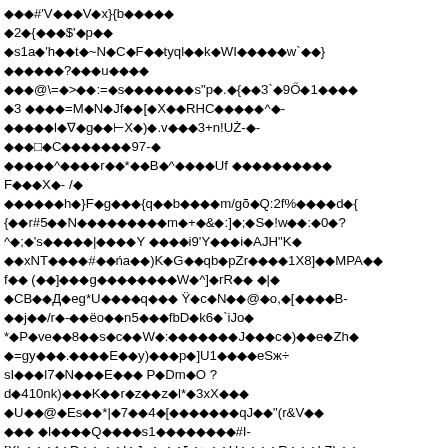◆◆◆#'V◆◆◆V◆x}{b◆◆◆◆◆
◆2◆{◆◆◆$'◆p◆◆
◆s1a◆'h◆◆t◆~N◆C◆F◆◆tyql◆◆k◆WI◆◆◆◆◆w`◆◆}
◆◆◆◆◆◆?◆◆◆u◆◆◆◆
◆◆◆@\=◆>◆◆:=◆s◆◆◆◆◆◆◆s"p◆.◆{◆◆3`◆9Ő◆1◆◆◆◆
◆3 ◆◆◆◆=M◆N◆Jf◆◆[◆X◆◆RHC◆◆◆◆◆^◆-
◆◆◆◆◆l◆∇◆g◆◆⊢X◆)◆.v◆◆◆3+n!UŻ-◆-
◆◆◆□◆C◆◆◆◆◆◆◆97-◆
◆◆◆◆◆^◆◆◆◆r◆◆*◆◆B◆^◆◆◆◆Uf ◆◆◆◆◆◆◆◆◆◆
F◆◆◆X◆- /◆
◆◆◆◆◆◆h◆}F◆g◆◆◆{q◆◆b◆◆◆◆m/gõ◆Q:2f%◆◆◆◆d◆{
{◆◆r#5◆◆N◆◆◆◆◆◆◆◆◆m◆+◆&◆;]◆;◆S◆!w◆◆:◆0◆?
^◆;◆'s◆◆◆◆◆|◆◆◆◆Y ◆◆◆◆i9'Y◆◆◆i◆AJH"K◆
◆◆xNT◆◆◆◆#◆◆ńa◆◆)K◆G◆◆qb◆pZr◆◆◆◆1X8]◆◆MPA◆◆
f◆◆ (◆◆]◆◆◆g◆◆◆◆◆◆◆◆W◆^]◆rR◆◆ ◆|◆
◆CB◆◆Д◆eg*U◆◆◆◆q◆◆◆ Ÿ◆c◆N◆◆@◆o,◆[◆◆◆◆B-
◆◆j◆◆/r◆-◆◆ëo◆◆n5◆◆◆fbD◆k6◆`iJo◆
*◆P◆ve◆◆8◆◆s◆c◆◆W◆:◆◆◆◆◆◆◆J◆◆◆c◆)◆◆e◆Zh◆
◆=gy◆◆◆.◆◆◆◆E◆◆y)◆◆◆p◆]U1◆◆◆◆eSж÷
sI◆◆◆l7◆N◆◆◆E◆◆◆ P◆Dm◆O ?
d◆410nk)◆◆◆K◆◆r◆z◆◆z◆l*◆3xX◆◆◆
◆U◆◆@◆Es◆◆*|◆7◆◆4◆[◆◆◆◆◆◆◆qJ◆◆"(r&V◆◆
◆◆◆ ◆I◆◆◆◆Q◆◆◆◆s1◆◆◆◆◆◆◆◆#I-
[Xh◆◆◆^◆D◆◆ ◆◆l◆Jn◆ ◆◆ħ◆>◆◆H◆◆◆◆R◆◆◆kZk◆◆